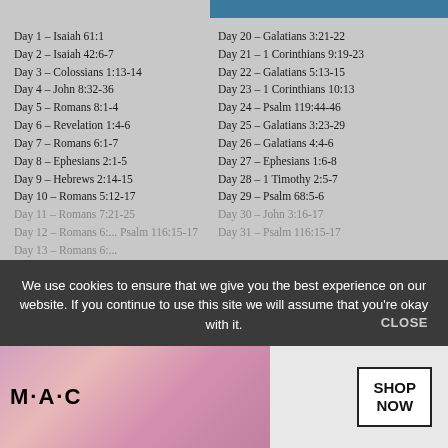Day 1 – Isaiah 61:1
Day 2 – Isaiah 42:6-7
Day 3 – Colossians 1:13-14
Day 4 – John 8:32-36
Day 5 – Romans 8:1-4
Day 6 – Revelation 1:4-6
Day 7 – Romans 6:1-7
Day 8 – Ephesians 2:1-5
Day 9 – Hebrews 2:14-15
Day 10 – Romans 5:12-17
Day 11 – Romans 7:21-25
Day 12 – Romans 6:... Psalm 116:15-17
Day 13 – Romans 6:...
Day 14 – 2 Peter 1:2-4
Day 15 – Galatians ...
Day 20 – Galatians 3:21-22
Day 21 – 1 Corinthians 9:19-23
Day 22 – Galatians 5:13-15
Day 23 – 1 Corinthians 10:13
Day 24 – Psalm 119:44-46
Day 25 – Galatians 3:23-29
Day 26 – Galatians 4:4-6
Day 27 – Ephesians 1:6-8
Day 28 – 1 Timothy 2:5-7
Day 29 – Psalm 68:5-6
Day 30 – John 3:16-17
Day 31 – Psalm 116:15-17
July Bible Reading Plan
We use cookies to ensure that we give you the best experience on our website. If you continue to use this site we will assume that you're okay with it.